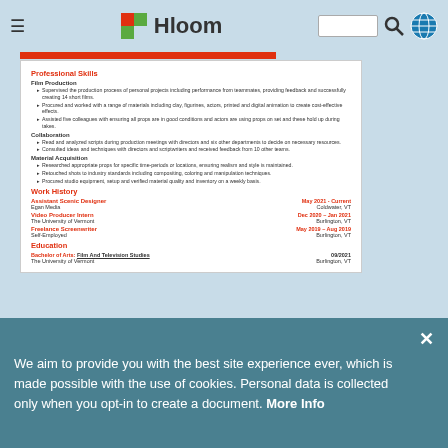Hloom website navigation bar with logo, search, and globe icon
Professional Skills
Film Production
Supervised the production process of personal projects including performance from teammates, providing feedback and successfully creating 14 short films.
Procured and worked with a range of materials including clay, figurines, actors, printed and digital animation to create cost-effective effects.
Assisted five colleagues with ensuring all props are in good conditions and actors are using props on set and these hold up during takes.
Collaboration
Read and analyzed scripts during production meetings with directors and six other departments to decide on necessary resources.
Consulted ideas and techniques with directors and scriptwriters and received feedback from 10 other teams.
Material Acquisition
Researched appropriate props for specific time-periods or locations, ensuring realism and style is maintained.
Retouched shots to industry standards including compositing, coloring and manipulation techniques.
Procured studio equipment, setup and verified material quality and inventory on a weekly basis.
Work History
Assistant Scenic Designer — May 2021 - Current — Egan Media — Coldwater, VT
Video Producer Intern — Dec 2020 – Jan 2021 — The University of Vermont — Burlington, VT
Freelance Screenwriter — May 2019 – Aug 2019 — Self-Employed — Burlington, VT
Education
Bachelor of Arts: Film And Television Studies — 09/2021 — The University of Vermont — Burlington, VT
Functional
We aim to provide you with the best site experience ever, which is made possible with the use of cookies. Personal data is collected only when you opt-in to create a document. More Info